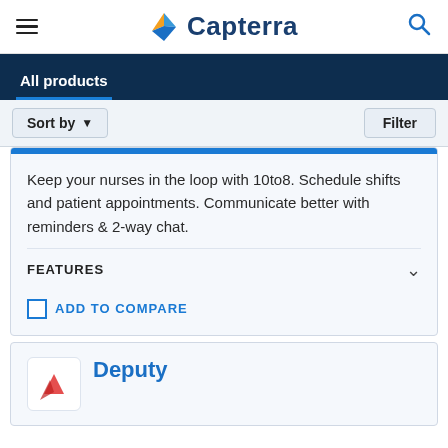Capterra
All products
Sort by ▾   Filter
Keep your nurses in the loop with 10to8. Schedule shifts and patient appointments. Communicate better with reminders & 2-way chat.
FEATURES
ADD TO COMPARE
Deputy